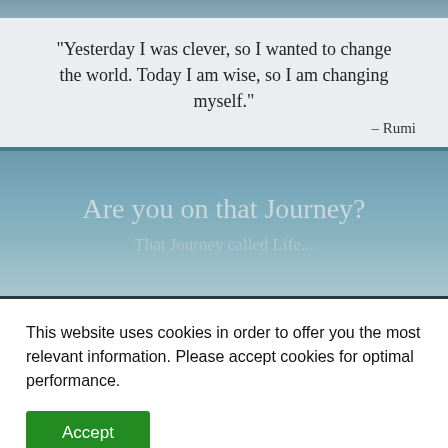[Figure (photo): Top decorative image strip with blue-grey gradient, partial website header image]
"Yesterday I was clever, so I wanted to change the world. Today I am wise, so I am changing myself."
– Rumi
Are you on that Journey?
That Journey called Life...
This website uses cookies in order to offer you the most relevant information. Please accept cookies for optimal performance.
Accept